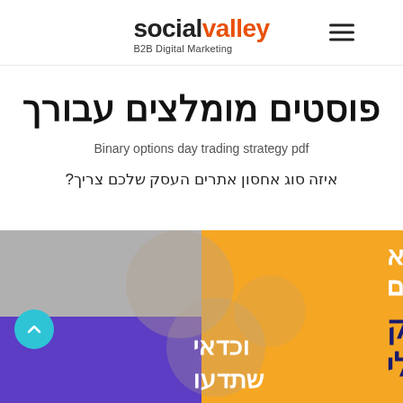social valley B2B Digital Marketing
פוסטים מומלצים עבורך
Binary options day trading strategy pdf
איזה סוג אחסון אתרים העסק שלכם צריך?
[Figure (illustration): Colorful promotional graphic split into four quadrants: top-left gray, top-right orange with white Hebrew text 'כל מה שלא סיפרו לכם על שיוק דיגיטלי', bottom-left purple with white Hebrew text 'וכדאי שתדעו'. Abstract decorative shapes in background.]